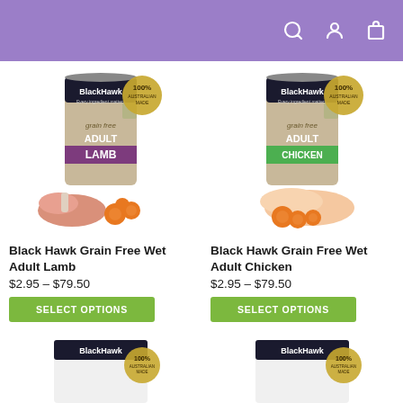Black Hawk pet food website header with search, account, and cart icons
[Figure (photo): Black Hawk Grain Free Wet Adult Lamb dog food can with lamb chop and carrots]
Black Hawk Grain Free Wet Adult Lamb
$2.95 – $79.50
SELECT OPTIONS
[Figure (photo): Black Hawk Grain Free Wet Adult Chicken dog food can with chicken breast and carrots]
Black Hawk Grain Free Wet Adult Chicken
$2.95 – $79.50
SELECT OPTIONS
[Figure (photo): Black Hawk product partially visible at bottom left]
[Figure (photo): Black Hawk product partially visible at bottom right]